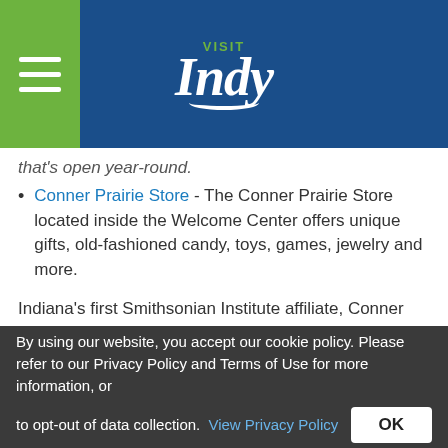[Figure (logo): Visit Indy logo on dark blue header background with green hamburger menu on left]
that's open year-round.
Conner Prairie Store - The Conner Prairie Store located inside the Welcome Center offers unique gifts, old-fashioned candy, toys, games, jewelry and more.
Indiana's first Smithsonian Institute affiliate, Conner Prairie is accredited by the American Alliance of Museums.
Hours:
April 30-November 3: Open 10 am-5 pm, Tuesday-
By using our website, you accept our cookie policy. Please refer to our Privacy Policy and Terms of Use for more information, or to opt-out of data collection. View Privacy Policy OK